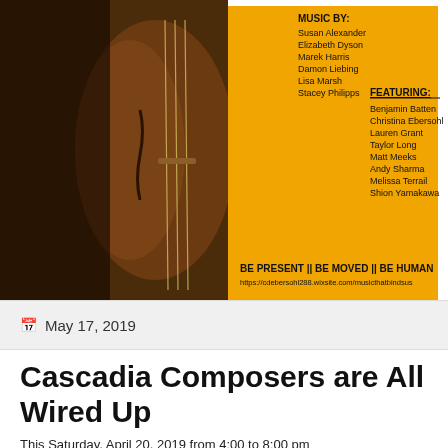[Figure (illustration): Event flyer showing a violin/cello photo on the left half and an orange/yellow background on the right half with text: MUSIC BY: Susan Alexander, Elizabeth Dyson, Marek Harris, Damon Liebing, Lisa Marsh, Stacey Philipps. FEATURING: Benjamin Batten, Christina Ebersohl, Lauren Grant, Taylor Long, Matt Meeks, Andy Sharma, Melissa Terrail, Shion Yamakawa. BE PRESENT || BE MOVED || BE HUMAN. https://cdebersohl288.wixsite.com/musicthatbindsus]
May 17, 2019
Cascadia Composers are All Wired Up
This Saturday, April 20, 2019 from 4:00 to 8:00 pm